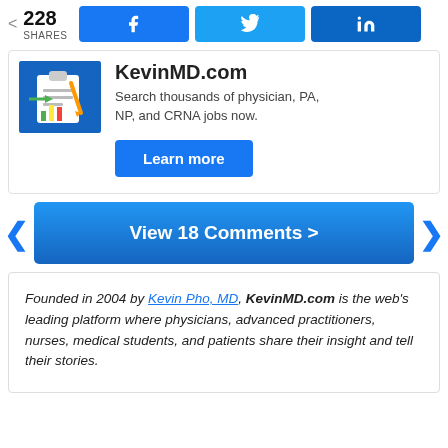< 228 SHARES [Facebook] [Twitter] [LinkedIn]
[Figure (screenshot): KevinMD.com ad card with clipboard illustration, title 'KevinMD.com', description 'Search thousands of physician, PA, NP, and CRNA jobs now.', and a 'Learn more' button]
View 18 Comments >
Founded in 2004 by Kevin Pho, MD, KevinMD.com is the web's leading platform where physicians, advanced practitioners, nurses, medical students, and patients share their insight and tell their stories.